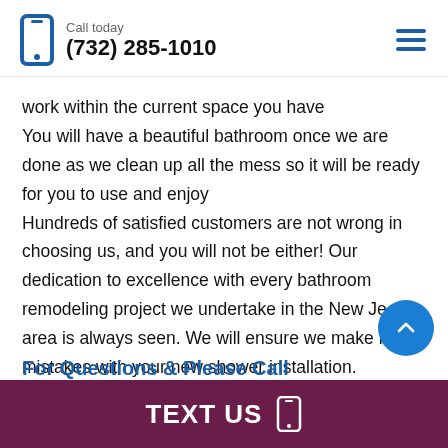Call today (732) 285-1010
work within the current space you have You will have a beautiful bathroom once we are done as we clean up all the mess so it will be ready for you to use and enjoy Hundreds of satisfied customers are not wrong in choosing us, and you will not be either! Our dedication to excellence with every bathroom remodeling project we undertake in the New Je area is always seen. We will ensure we make no mistakes with your new shower installation.
TEXT US